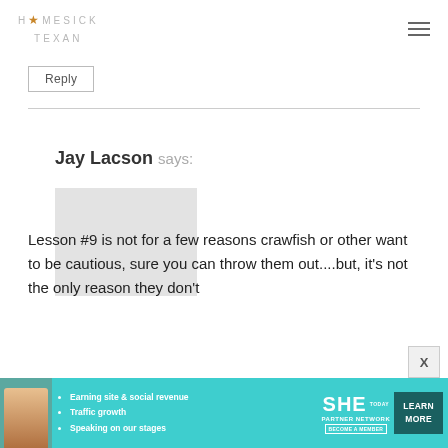HOMESICK TEXAN
Reply
Jay Lacson says:
Lesson #9 is not for a few reasons crawfish or other want to be cautious, sure you can throw them out....but, it's not the only reason they don't
[Figure (infographic): SHE Partner Network advertisement banner with woman photo, bullet points about earning site & social revenue, traffic growth, speaking on our stages, SHE logo, and LEARN MORE button]